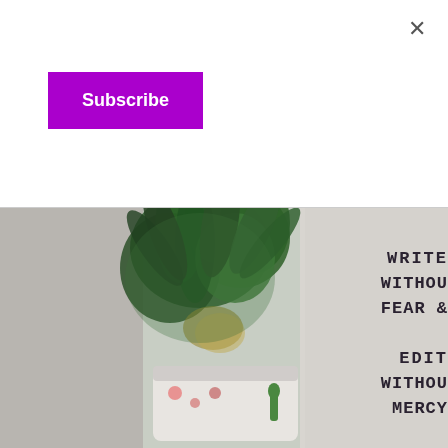×
Subscribe
[Figure (photo): Blurred photo of a potted succulent/pineapple-like plant next to a white sign with typewriter text reading: WRITE WITHOUT FEAR / EDIT WITHOUT MERCY]